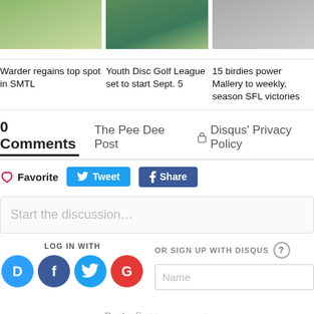[Figure (photo): Thumbnail image for article: Warder regains top spot in SMTL (green/grass outdoor scene)]
Warder regains top spot in SMTL
[Figure (photo): Thumbnail image for article: Youth Disc Golf League set to start Sept. 5 (disc golf course scene)]
Youth Disc Golf League set to start Sept. 5
[Figure (photo): Thumbnail image for article: 15 birdies power Mallery to weekly, season SFL victories (disc golf basket)]
15 birdies power Mallery to weekly, season SFL victories
0 Comments   The Pee Dee Post   Disqus' Privacy Policy
❤ Favorite   Tweet   Share
Start the discussion…
LOG IN WITH
OR SIGN UP WITH DISQUS ?
Name
Be the first to comment.